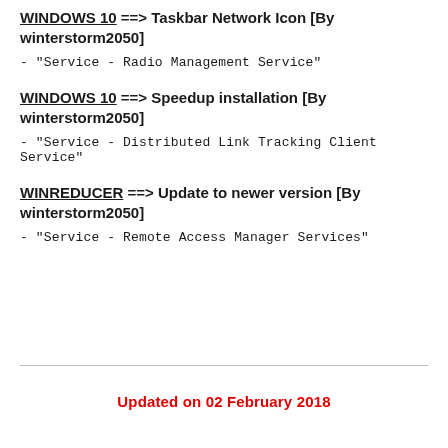WINDOWS 10 ==> Taskbar Network Icon [By winterstorm2050]
- "Service - Radio Management Service"
WINDOWS 10 ==> Speedup installation [By winterstorm2050]
- "Service - Distributed Link Tracking Client Service"
WINREDUCER ==> Update to newer version [By winterstorm2050]
- "Service - Remote Access Manager Services"
Updated on 02 February 2018